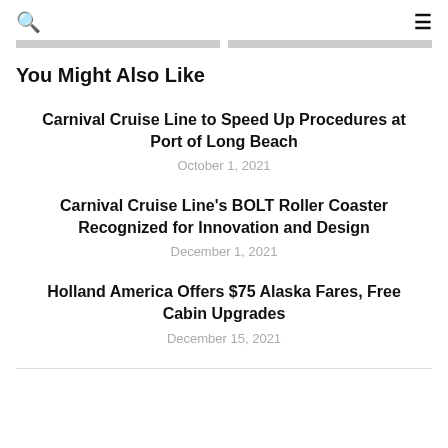🔍  ☰
You Might Also Like
Carnival Cruise Line to Speed Up Procedures at Port of Long Beach
October 1, 2021
Carnival Cruise Line's BOLT Roller Coaster Recognized for Innovation and Design
December 1, 2021
Holland America Offers $75 Alaska Fares, Free Cabin Upgrades
December 15, 2021